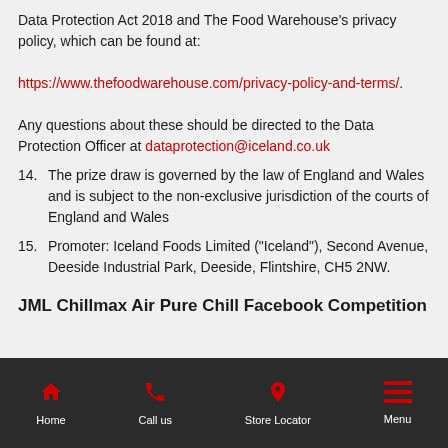Data Protection Act 2018 and The Food Warehouse's privacy policy, which can be found at: https://www.thefoodwarehouse.com/privacy-policy-and-terms/. Any questions about these should be directed to the Data Protection Officer at dataprotection@iceland.co.uk
14. The prize draw is governed by the law of England and Wales and is subject to the non-exclusive jurisdiction of the courts of England and Wales
15. Promoter: Iceland Foods Limited ("Iceland"), Second Avenue, Deeside Industrial Park, Deeside, Flintshire, CH5 2NW.
JML Chillmax Air Pure Chill Facebook Competition
Home | Call us | Store Locator | Menu